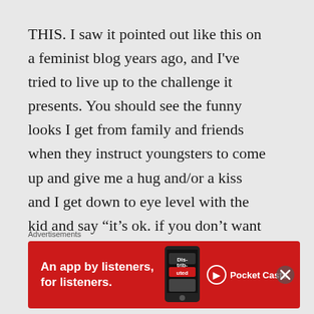THIS. I saw it pointed out like this on a feminist blog years ago, and I've tried to live up to the challenge it presents. You should see the funny looks I get from family and friends when they instruct youngsters to come up and give me a hug and/or a kiss and I get down to eye level with the kid and say “it’s ok. if you don’t want to give me a hug or a kiss, you don’t have to. Its up to you.” I’ve had to explain it to the parents more than a few times
Advertisements
[Figure (other): Red advertisement banner for Pocket Casts: 'An app by listeners, for listeners.' with phone graphic and Pocket Casts logo]